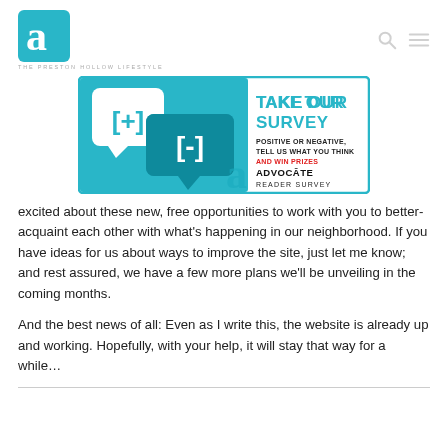THE PRESTON HOLLOW LIFESTYLE
[Figure (infographic): Take Our Survey banner ad. Shows speech bubbles with [+] and [-] symbols in teal. Text reads: TAKE OUR SURVEY / POSITIVE OR NEGATIVE, TELL US WHAT YOU THINK / AND WIN PRIZES / ADVOCATE READER SURVEY]
excited about these new, free opportunities to work with you to better-acquaint each other with what’s happening in our neighborhood. If you have ideas for us about ways to improve the site, just let me know; and rest assured, we have a few more plans we’ll be unveiling in the coming months.
And the best news of all: Even as I write this, the website is already up and working. Hopefully, with your help, it will stay that way for a while…